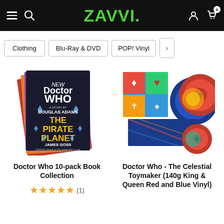ZAVVI
Clothing
Blu-Ray & DVD
POP! Vinyl
[Figure (photo): Doctor Who 10-pack Book Collection product image showing stacked books with 'The Pirate Planet' by Douglas Adams on top]
[Figure (photo): Doctor Who - The Celestial Toymaker 140g King & Queen Red and Blue Vinyl product image showing vinyl records with colorful sleeve]
Doctor Who 10-pack Book Collection
Doctor Who - The Celestial Toymaker (140g King & Queen Red and Blue Vinyl)
★★★★★ (1)